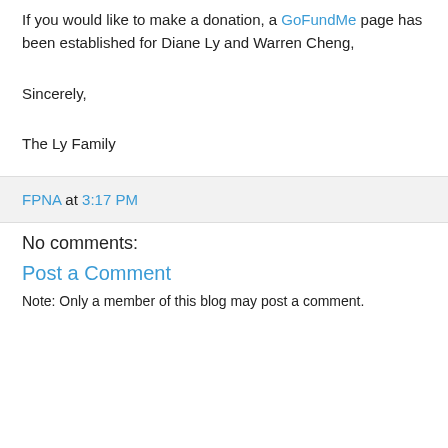If you would like to make a donation, a GoFundMe page has been established for Diane Ly and Warren Cheng,
Sincerely,
The Ly Family
FPNA at 3:17 PM
No comments:
Post a Comment
Note: Only a member of this blog may post a comment.